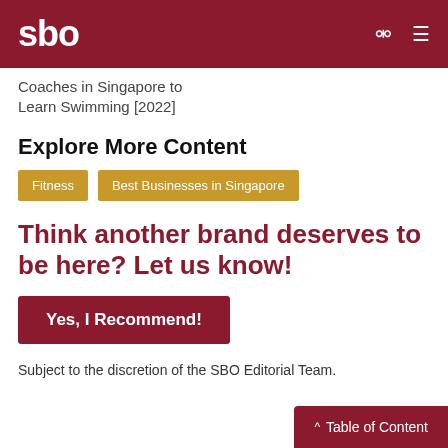sbo
Coaches in Singapore to Learn Swimming [2022]
Explore More Content
Fitness
Best Businesses in Singapore
Think another brand deserves to be here? Let us know!
Yes, I Recommend!
Subject to the discretion of the SBO Editorial Team.
Table of Content